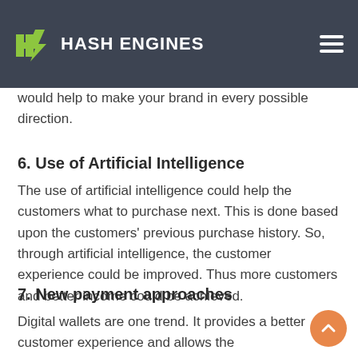HASH ENGINES
than selling through a site. Facebook, Instagram would be the best platforms for selling. Multichannel selling would help to make your brand in every possible direction.
6. Use of Artificial Intelligence
The use of artificial intelligence could help the customers what to purchase next. This is done based upon the customers' previous purchase history. So, through artificial intelligence, the customer experience could be improved. Thus more customers and better income could be achieved.
7. New payment approaches
Digital wallets are one trend. It provides a better customer experience and allows the